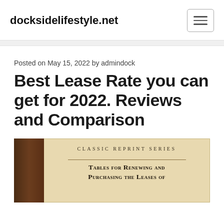docksidelifestyle.net
Posted on May 15, 2022 by admindock
Best Lease Rate you can get for 2022. Reviews and Comparison
[Figure (photo): Book cover showing 'Classic Reprint Series - Tables for Renewing and Purchasing the Leases of' with a dark brown spine on the left and a beige/tan cover on the right]